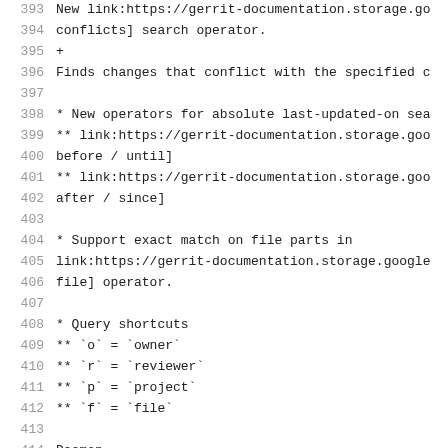393  New link:https://gerrit-documentation.storage.go
394  conflicts] search operator.
395  +
396  Finds changes that conflict with the specified c
397  (empty)
398  * New operators for absolute last-updated-on sea
399  ** link:https://gerrit-documentation.storage.goo
400  before / until]
401  ** link:https://gerrit-documentation.storage.goo
402  after / since]
403  (empty)
404  * Support exact match on file parts in
405  link:https://gerrit-documentation.storage.google
406  file] operator.
407  (empty)
408  * Query shortcuts
409  ** `o` = `owner`
410  ** `r` = `reviewer`
411  ** `p` = `project`
412  ** `f` = `file`
413  (empty)
414  Daemon